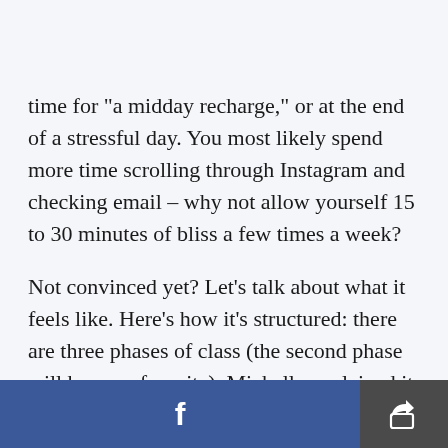time for "a midday recharge," or at the end of a stressful day. You most likely spend more time scrolling through Instagram and checking email – why not allow yourself 15 to 30 minutes of bliss a few times a week?
Not convinced yet? Let's talk about what it feels like. Here's how it's structured: there are three phases of class (the second phase will be your favorite). Michelle explained it as "warm up, cocoon, wake up and out" (in which you'll "emerge
f  [share]